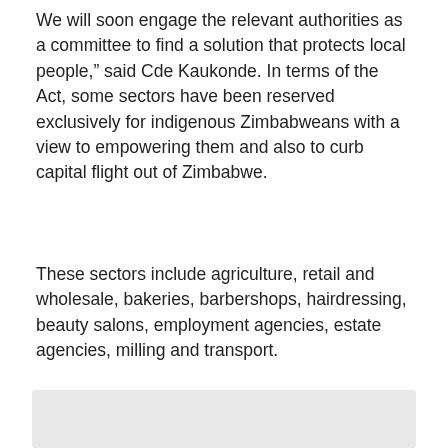We will soon engage the relevant authorities as a committee to find a solution that protects local people," said Cde Kaukonde. In terms of the Act, some sectors have been reserved exclusively for indigenous Zimbabweans with a view to empowering them and also to curb capital flight out of Zimbabwe.
These sectors include agriculture, retail and wholesale, bakeries, barbershops, hairdressing, beauty salons, employment agencies, estate agencies, milling and transport.
[Figure (photo): Gray/light colored image box at the bottom of the page, content not fully visible.]